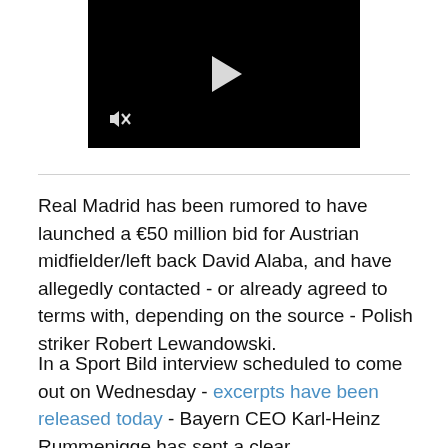[Figure (screenshot): Black video player with white play button triangle in center and muted speaker icon in bottom left]
Real Madrid has been rumored to have launched a €50 million bid for Austrian midfielder/left back David Alaba, and have allegedly contacted - or already agreed to terms with, depending on the source - Polish striker Robert Lewandowski.
In a Sport Bild interview scheduled to come out on Wednesday - excerpts have been released today - Bayern CEO Karl-Heinz Rummenigge has sent a clear